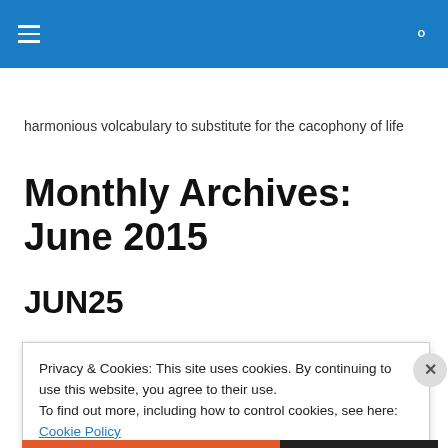harmonious volcabulary to substitute for the cacophony of life
harmonious volcabulary to substitute for the cacophony of life
Monthly Archives: June 2015
JUN25
Privacy & Cookies: This site uses cookies. By continuing to use this website, you agree to their use.
To find out more, including how to control cookies, see here: Cookie Policy
Close and accept